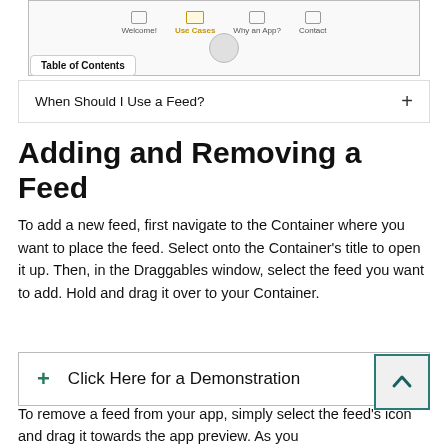[Figure (screenshot): App navigation screenshot showing nav bar with icons and tabs: Welcome!, Use Cases (highlighted in yellow/gold), Why an App?, Contact]
Table of Contents
When Should I Use a Feed?  +
Adding and Removing a Feed
To add a new feed, first navigate to the Container where you want to place the feed. Select onto the Container’s title to open it up. Then, in the Draggables window, select the feed you want to add. Hold and drag it over to your Container.
+ Click Here for a Demonstration
To remove a feed from your app, simply select the feed’s icon and drag it towards the app preview. As you